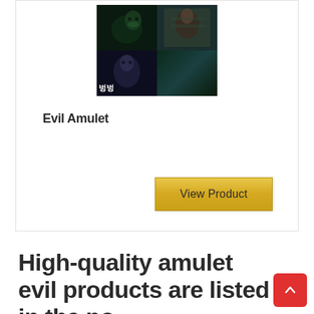[Figure (photo): Movie poster for 'Evil Amulet' (Korean horror film) showing four character portraits in a 2x2 grid with Korean text overlay, dark moody tones]
Evil Amulet
View Product
High-quality amulet evil products are listed in the po